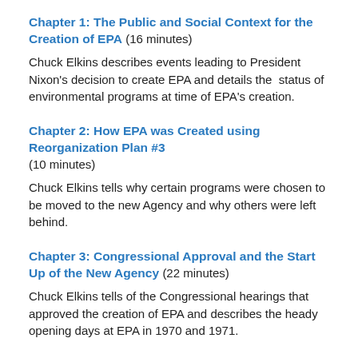Chapter 1: The Public and Social Context for the Creation of EPA (16 minutes)
Chuck Elkins describes events leading to President Nixon's decision to create EPA and details the status of environmental programs at time of EPA's creation.
Chapter 2: How EPA was Created using Reorganization Plan #3 (10 minutes)
Chuck Elkins tells why certain programs were chosen to be moved to the new Agency and why others were left behind.
Chapter 3: Congressional Approval and the Start Up of the New Agency (22 minutes)
Chuck Elkins tells of the Congressional hearings that approved the creation of EPA and describes the heady opening days at EPA in 1970 and 1971.
THE INTERVIEW AS A WHOLE (48 minutes)